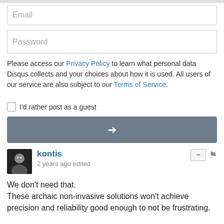[Figure (screenshot): Email input field placeholder]
[Figure (screenshot): Password input field placeholder]
Please access our Privacy Policy to learn what personal data Disqus collects and your choices about how it is used. All users of our service are also subject to our Terms of Service.
I'd rather post as a guest
[Figure (screenshot): Arrow button (submit/next)]
kontis
2 years ago edited
We don't need that.
These archaic non-invasive solutions won't achieve precision and reliability good enough to not be frustrating.

What actually would be very valuable is a single, simple 1-bit sensor. Just like Carmack suggested- a single "mouse click" with brain. This way eye tracking would become 10x better and more useful. Just look at something and think "click".